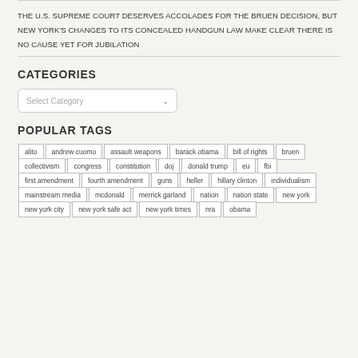THE U.S. SUPREME COURT DESERVES ACCOLADES FOR THE BRUEN DECISION, BUT NEW YORK'S CHANGES TO ITS CONCEALED HANDGUN LAW MAKE CLEAR THERE IS NO CAUSE YET FOR JUBILATION
CATEGORIES
POPULAR TAGS
alito
andrew cuomo
assault weapons
barack obama
bill of rights
bruen
collectivism
congress
constitution
doj
donald trump
eu
fbi
first amendment
fourth amendment
guns
heller
hillary clinton
individualism
mainstream media
mcdonald
merrick garland
nation
nation state
new york
new york city
new york safe act
new york times
nra
obama